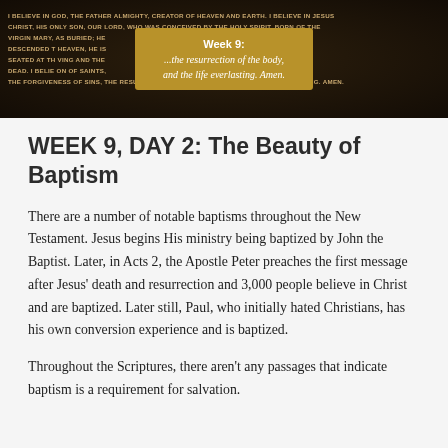[Figure (photo): Dark banner image with gold/amber text showing the Apostles' Creed text in uppercase. A gold-colored overlay box in the center reads 'Week 9:' and '...the resurrection of the body, and the life everlasting. Amen.']
WEEK 9, DAY 2: The Beauty of Baptism
There are a number of notable baptisms throughout the New Testament. Jesus begins His ministry being baptized by John the Baptist. Later, in Acts 2, the Apostle Peter preaches the first message after Jesus' death and resurrection and 3,000 people believe in Christ and are baptized. Later still, Paul, who initially hated Christians, has his own conversion experience and is baptized.
Throughout the Scriptures, there aren't any passages that indicate baptism is a requirement for salvation.